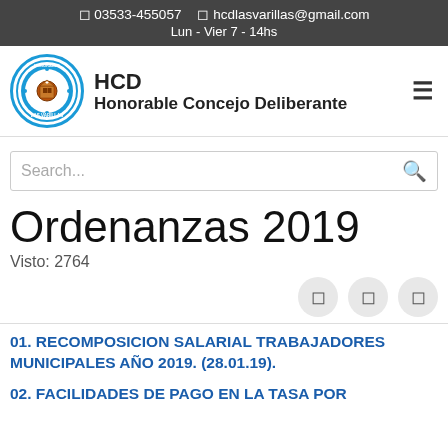03533-455057  hcdlasvarillas@gmail.com
Lun - Vier 7 - 14hs
[Figure (logo): HCD Honorable Concejo Deliberante logo with circular emblem]
Ordenanzas 2019
Visto: 2764
01. RECOMPOSICION SALARIAL TRABAJADORES MUNICIPALES AÑO 2019. (28.01.19).
02. FACILIDADES DE PAGO EN LA TASA POR